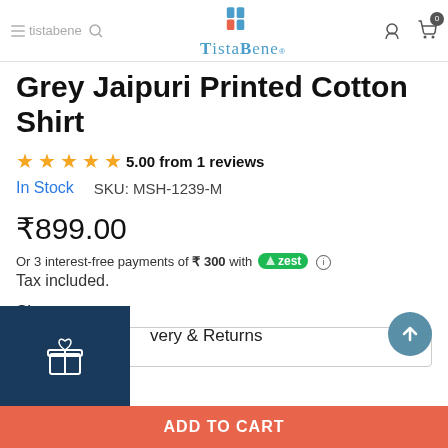TistaBene
Grey Jaipuri Printed Cotton Shirt
5.00 from 1 reviews
In Stock   SKU: MSH-1239-M
₹899.00
Or 3 interest-free payments of ₹ 300 with zest ⓘ
Tax included.
Size
M
very & Returns
ADD TO CART